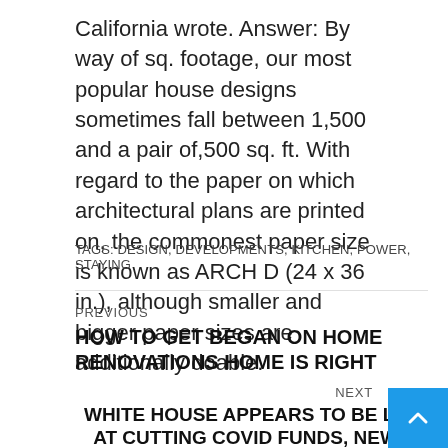California wrote. Answer: By way of sq. footage, our most popular house designs sometimes fall between 1,500 and a pair of,500 sq. ft. With regard to the paper on which architectural plans are printed on, the commonest paper size is known as ARCH D (24 x 36 in.), although smaller and bigger paper sizes are additionally doable.
TAGS: DESIGN, DEVELOPMENTS, KITCHEN, POWER, STAYING
PREVIOUS
HOW TO GET BEGAN ON HOME RENOVATIONS HOME IS RIGHT
NEXT
WHITE HOUSE APPEARS TO BE LIKE AT CUTTING COVID FUNDS, NEW C SCREENINGS IN 'ANARCHIST' C